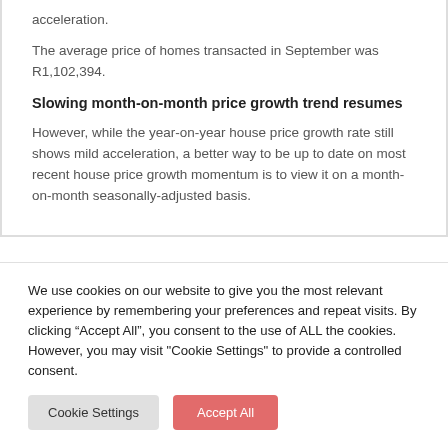acceleration.
The average price of homes transacted in September was R1,102,394.
Slowing month-on-month price growth trend resumes
However, while the year-on-year house price growth rate still shows mild acceleration, a better way to be up to date on most recent house price growth momentum is to view it on a month-on-month seasonally-adjusted basis.
We use cookies on our website to give you the most relevant experience by remembering your preferences and repeat visits. By clicking “Accept All”, you consent to the use of ALL the cookies. However, you may visit "Cookie Settings" to provide a controlled consent.